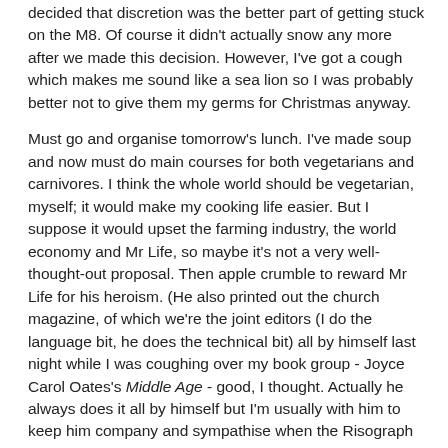decided that discretion was the better part of getting stuck on the M8. Of course it didn't actually snow any more after we made this decision. However, I've got a cough which makes me sound like a sea lion so I was probably better not to give them my germs for Christmas anyway.
Must go and organise tomorrow's lunch. I've made soup and now must do main courses for both vegetarians and carnivores. I think the whole world should be vegetarian, myself; it would make my cooking life easier. But I suppose it would upset the farming industry, the world economy and Mr Life, so maybe it's not a very well-thought-out proposal. Then apple crumble to reward Mr Life for his heroism. (He also printed out the church magazine, of which we're the joint editors (I do the language bit, he does the technical bit) all by himself last night while I was coughing over my book group - Joyce Carol Oates's Middle Age - good, I thought. Actually he always does it all by himself but I'm usually with him to keep him company and sympathise when the Risograph misbehaves. Or sometimes it's Daughter 2 - who is quite enjoying her job in London, by the way. They're going for their staff Christmas lunch to the Groucho Club, where her